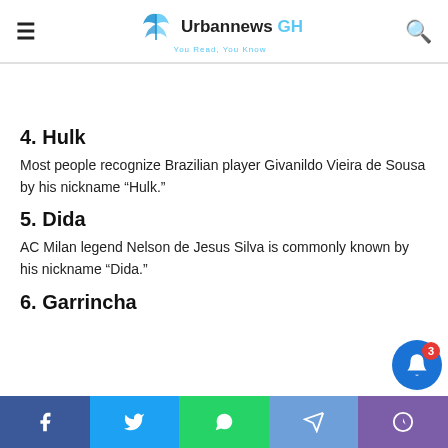Urbannews GH — You Read, You Know
4. Hulk
Most people recognize Brazilian player Givanildo Vieira de Sousa by his nickname “Hulk.”
5. Dida
AC Milan legend Nelson de Jesus Silva is commonly known by his nickname “Dida.”
6. Garrincha
Facebook | Twitter | WhatsApp | Telegram | Push notifications